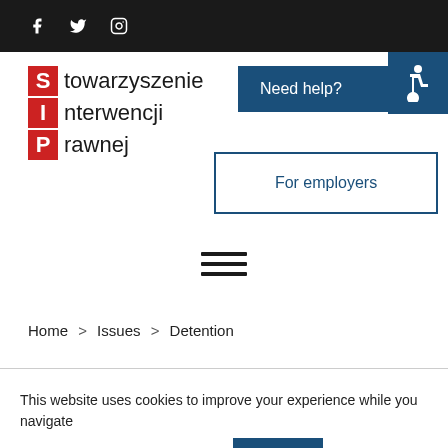Social media icons: Facebook, Twitter, Instagram
[Figure (logo): SIP logo - Stowarzyszenie Interwencji Prawnej with red letter blocks S, I, P]
[Figure (other): Need help? button with wheelchair accessibility icon]
[Figure (other): For employers button]
[Figure (other): Hamburger menu icon - three horizontal lines]
Home > Issues > Detention
This website uses cookies to improve your experience while you navigate through the website. Read more  accept